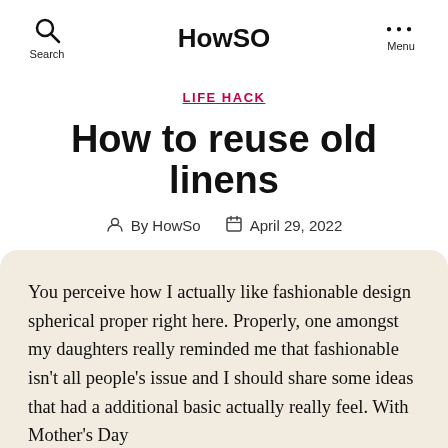Search  HowSO  Menu
LIFE HACK
How to reuse old linens
By HowSo   April 29, 2022
You perceive how I actually like fashionable design spherical proper right here. Properly, one amongst my daughters really reminded me that fashionable isn't all people's issue and I should share some ideas that had a additional basic actually really feel. With Mother's Day